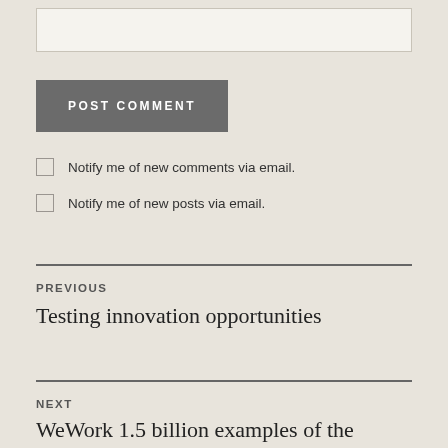[Figure (other): Empty text input box for comment entry]
POST COMMENT
Notify me of new comments via email.
Notify me of new posts via email.
PREVIOUS
Testing innovation opportunities
NEXT
WeWork 1.5 billion examples of the